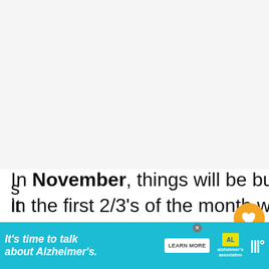[Figure (photo): Large white/light gray image area occupying the top portion of the page (appears blank or mostly white)]
In November, things will be busier than usual in the first 2/3's of the month with Veterans Day and runDisney events. There is a lull in the middle of the month until guests s...day. It...ay.
[Figure (infographic): Floating sidebar with orange heart/like button showing 3.2K likes, and a share icon below it]
[Figure (infographic): What's Next card showing a Disney castle thumbnail with label 'WHAT'S NEXT' and title 'Best Time to Visit Disney...']
[Figure (infographic): Advertisement banner for Alzheimer's Association: 'It's time to talk about Alzheimer's.' with LEARN MORE button and Alzheimer's Association logo]